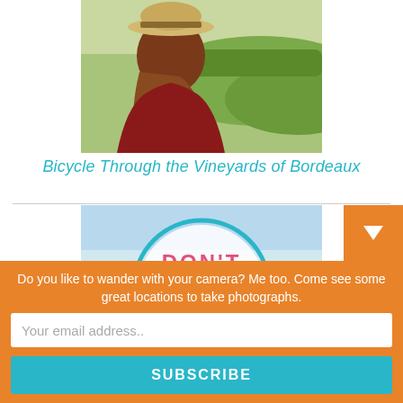[Figure (photo): Woman with hat viewed from behind, looking over green vineyard landscape]
Bicycle Through the Vineyards of Bordeaux
[Figure (photo): Partial image showing circular teal frame with text DON'T in pink]
Do you like to wander with your camera? Me too. Come see some great locations to take photographs.
Your email address..
SUBSCRIBE